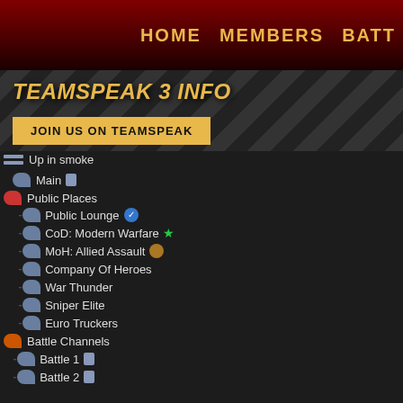HOME   MEMBERS   BATT...
TEAMSPEAK 3 INFO
JOIN US ON TEAMSPEAK
VIDEOS
WELCOME TO THE HOME OF UP IN S...
Up in smoke
Main 🔒
Public Places
Public Lounge ✅
CoD: Modern Warfare ⭐
MoH: Allied Assault 🏅
Company Of Heroes
War Thunder
Sniper Elite
Euro Truckers
Battle Channels
Battle 1 🔒
Battle 2 🔒
Status Channels
Back B4 match
I'm Busy
I'll be back
I'm Away
Music/TV
Private Channels